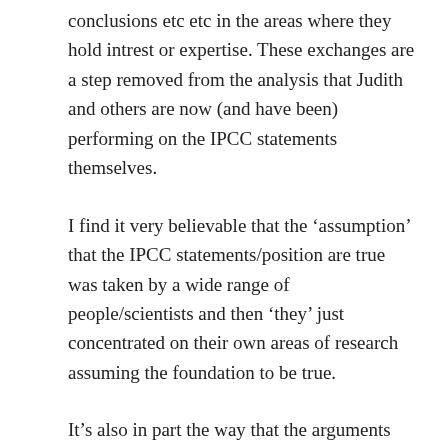conclusions etc etc in the areas where they hold intrest or expertise. These exchanges are a step removed from the analysis that Judith and others are now (and have been) performing on the IPCC statements themselves.
I find it very believable that the ‘assumption’ that the IPCC statements/position are true was taken by a wide range of people/scientists and then ‘they’ just concentrated on their own areas of research assuming the foundation to be true.
It’s also in part the way that the arguments have been framed-